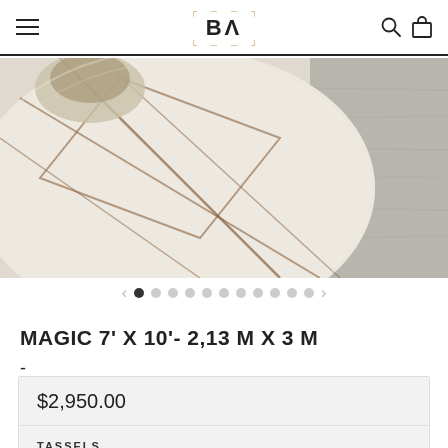BA (logo) with search and cart icons
[Figure (photo): Close-up photo of a cream/off-white Moroccan-style rug with brown geometric line patterns, shown on a grey wooden floor. A plant or bowl is partially visible in the top left corner.]
MAGIC 7' X 10'- 2,13 M X 3 M
-
$2,950.00
TASSELS